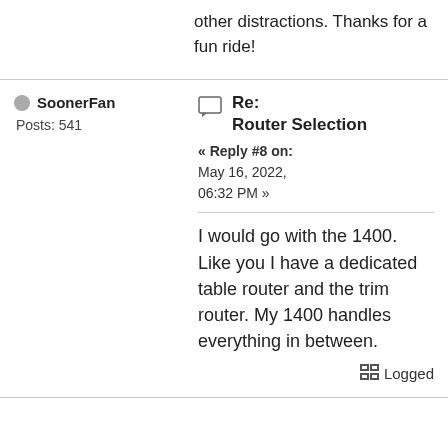other distractions. Thanks for a fun ride!
SoonerFan
Posts: 541
Re: Router Selection
« Reply #8 on: May 16, 2022, 06:32 PM »
I would go with the 1400.  Like you I have a dedicated table router and the trim router.  My 1400 handles everything in between.
Logged